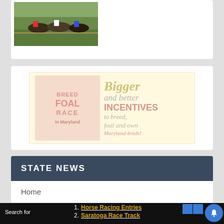[Figure (photo): Horse racing photo showing horses and jockeys on a green track]
[Figure (illustration): Advertisement: BREED FOAL RACE in Maryland. Bigger and better INCENTIVES to breed, foal and own Maryland-breds!]
STATE NEWS
Home
Search for
1. Horse Racing Entries
2. Saratoga Race Track